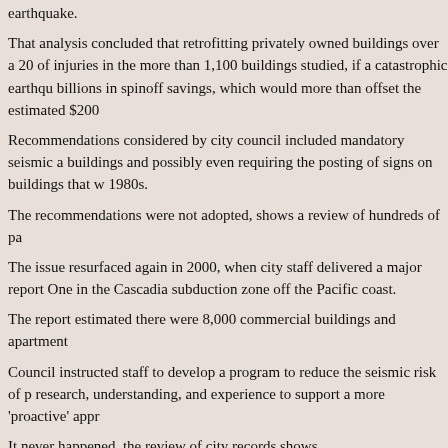earthquake.
That analysis concluded that retrofitting privately owned buildings over a 20 of injuries in the more than 1,100 buildings studied, if a catastrophic earthqu billions in spinoff savings, which would more than offset the estimated $200
Recommendations considered by city council included mandatory seismic a buildings and possibly even requiring the posting of signs on buildings that w 1980s.
The recommendations were not adopted, shows a review of hundreds of pa
The issue resurfaced again in 2000, when city staff delivered a major report One in the Cascadia subduction zone off the Pacific coast.
The report estimated there were 8,000 commercial buildings and apartment
Council instructed staff to develop a program to reduce the seismic risk of p research, understanding, and experience to support a more 'proactive' appr
It never happened, the review of city records shows.
A Postmedia examination also found that a program created in 1996 to inde ended in about 2007, in part because funds were diverted to create a new e emissions.
The green building strategy — which includes the retrofit of older buildings t which has controlled city council since 2008.
Hundreds remain unrenovated
Over time, some of the 1,100 buildings the city's consultants Delcan-Norec changes of use or renovations.
But hundreds of buildings on the list compiled by the city in 1994 — includi